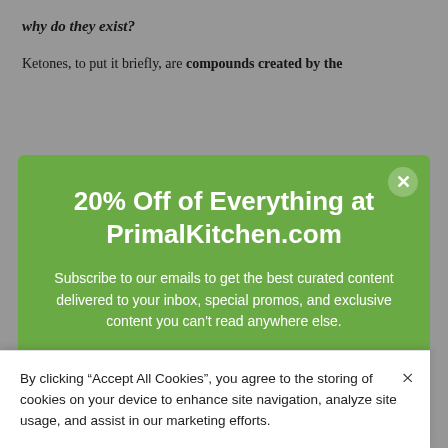why do they exist?
Ketones, to put it briefly, are compounds created by the
[Figure (screenshot): Modal popup overlay on a website with green background offering 20% off at PrimalKitchen.com, an email subscription form with placeholder text 'Enter your email address', and a SUBSCRIBE button]
By clicking “Accept All Cookies”, you agree to the storing of cookies on your device to enhance site navigation, analyze site usage, and assist in our marketing efforts.